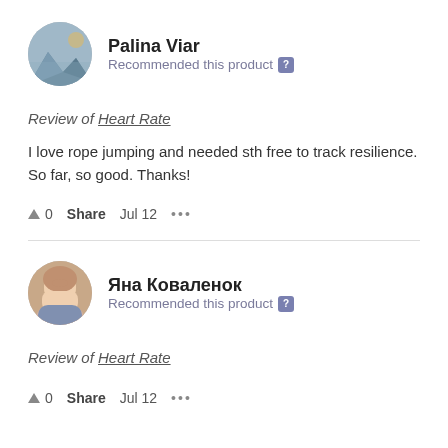Palina Viar — Recommended this product
Review of Heart Rate
I love rope jumping and needed sth free to track resilience. So far, so good. Thanks!
▲ 0   Share   Jul 12   •••
Яна Коваленок — Recommended this product
Review of Heart Rate
▲ 0   Share   Jul 12   •••